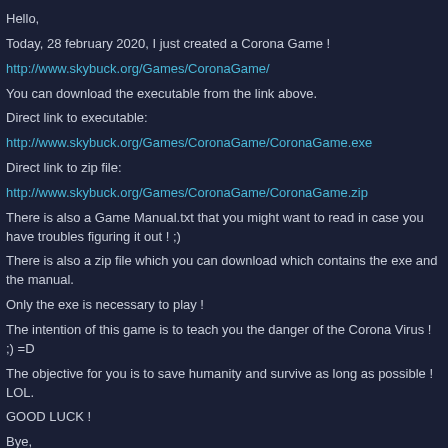Hello,
Today, 28 february 2020, I just created a Corona Game !
http://www.skybuck.org/Games/CoronaGame/
You can download the executable from the link above.
Direct link to executable:
http://www.skybuck.org/Games/CoronaGame/CoronaGame.exe
Direct link to zip file:
http://www.skybuck.org/Games/CoronaGame/CoronaGame.zip
There is also a Game Manual.txt that you might want to read in case you have troubles figuring it out ! ;)
There is also a zip file which you can download which contains the exe and the manual.
Only the exe is necessary to play !
The intention of this game is to teach you the danger of the Corona Virus ! ;) =D
The objective for you is to save humanity and survive as long as possible ! LOL.
GOOD LUCK !
Bye,
  Skybuck ;) =D
WOOOOOEHHHOOEEE MY VERY FIRST GAME RELEASE ! YESSSS